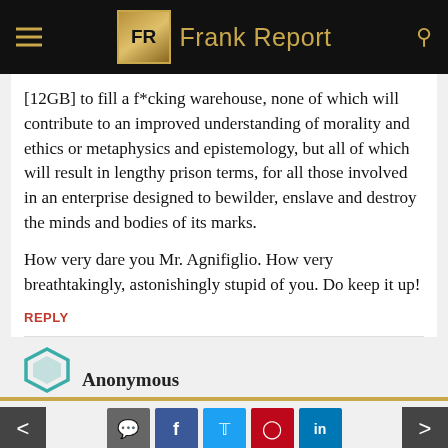Frank Report
[12GB] to fill a f*cking warehouse, none of which will contribute to an improved understanding of morality and ethics or metaphysics and epistemology, but all of which will result in lengthy prison terms, for all those involved in an enterprise designed to bewilder, enslave and destroy the minds and bodies of its marks.

How very dare you Mr. Agnifiglio. How very breathtakingly, astonishingly stupid of you. Do keep it up!
REPLY
Anonymous